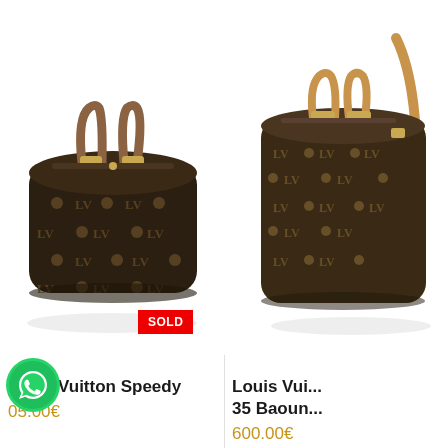[Figure (photo): Louis Vuitton Speedy monogram handbag with brown leather handles, dark brown canvas with LV monogram pattern, photographed on white background]
SOLD
Louis Vuitton Speedy
105.00€
[Figure (photo): Louis Vuitton 35 Baouncing monogram bag with tan leather strap, brown canvas with LV monogram pattern, partially cropped, photographed on white background]
Louis Vui... 35 Baoun...
600.00€